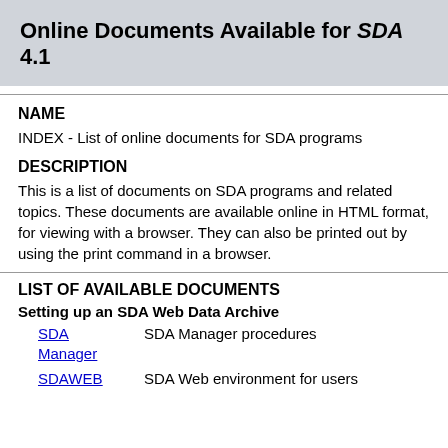Online Documents Available for SDA 4.1
NAME
INDEX - List of online documents for SDA programs
DESCRIPTION
This is a list of documents on SDA programs and related topics. These documents are available online in HTML format, for viewing with a browser. They can also be printed out by using the print command in a browser.
LIST OF AVAILABLE DOCUMENTS
Setting up an SDA Web Data Archive
SDA Manager - SDA Manager procedures
SDAWEB - SDA Web environment for users